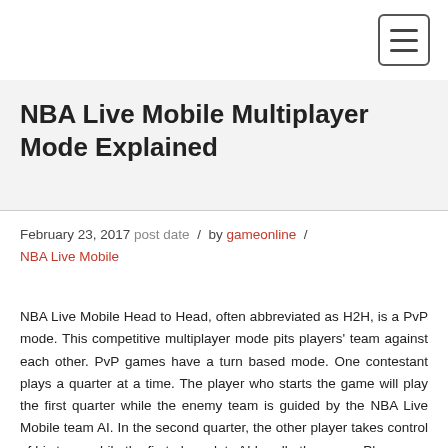[Navigation bar with hamburger menu]
NBA Live Mobile Multiplayer Mode Explained
February 23, 2017 post date / by gameonline / NBA Live Mobile
NBA Live Mobile Head to Head, often abbreviated as H2H, is a PvP mode. This competitive multiplayer mode pits players' team against each other. PvP games have a turn based mode. One contestant plays a quarter at a time. The player who starts the game will play the first quarter while the enemy team is guided by the NBA Live Mobile team AI. In the second quarter, the other player takes control of his team while the first player lets AI handle the game. Player one becomes active once again in the third quarter and watches the game unfold in